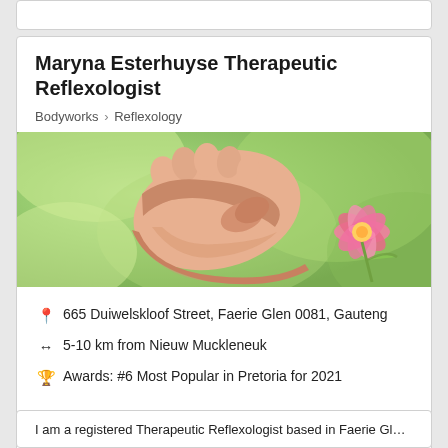Maryna Esterhuyse Therapeutic Reflexologist
Bodyworks > Reflexology
[Figure (photo): Hands performing reflexology massage on a foot, with a pink flower in the background against a green bokeh background]
665 Duiwelskloof Street, Faerie Glen 0081, Gauteng
5-10 km from Nieuw Muckleneuk
Awards: #6 Most Popular in Pretoria for 2021
Contact me  Email  www
I am a registered Therapeutic Reflexologist based in Faerie Gl...